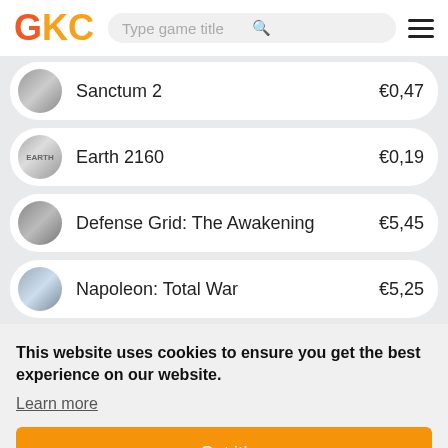GKC — Type game title
Sanctum 2 — €0,47
Earth 2160 — €0,19
Defense Grid: The Awakening — €5,45
Napoleon: Total War — €5,25
This website uses cookies to ensure you get the best experience on our website.
Learn more
Got it!